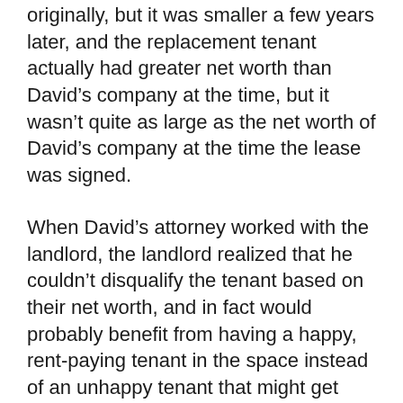originally, but it was smaller a few years later, and the replacement tenant actually had greater net worth than David's company at the time, but it wasn't quite as large as the net worth of David's company at the time the lease was signed.
When David's attorney worked with the landlord, the landlord realized that he couldn't disqualify the tenant based on their net worth, and in fact would probably benefit from having a happy, rent-paying tenant in the space instead of an unhappy tenant that might get behind on rent payments they couldn't continue to afford.
The landlord approved the replacement tenant as a qualified tenant. David's company was able to get into the right